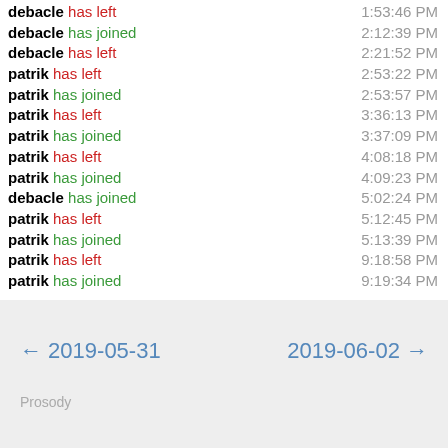debacle has left — 1:53:46 PM
debacle has joined — 2:12:39 PM
debacle has left — 2:21:52 PM
patrik has left — 2:53:22 PM
patrik has joined — 2:53:57 PM
patrik has left — 3:36:13 PM
patrik has joined — 3:37:09 PM
patrik has left — 4:08:18 PM
patrik has joined — 4:09:23 PM
debacle has joined — 5:02:24 PM
patrik has left — 5:12:45 PM
patrik has joined — 5:13:39 PM
patrik has left — 9:18:58 PM
patrik has joined — 9:19:34 PM
← 2019-05-31    2019-06-02 →    Prosody